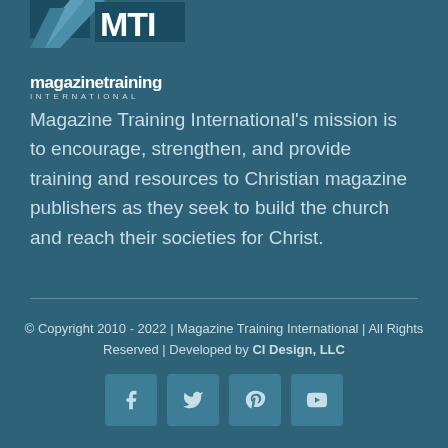[Figure (logo): Magazine Training International logo with stylized MTI graphic and text]
Magazine Training International's mission is to encourage, strengthen, and provide training and resources to Christian magazine publishers as they seek to build the church and reach their societies for Christ.
© Copyright 2010 - 2022 | Magazine Training International | All Rights Reserved | Developed by CI Design, LLC
[Figure (other): Social media icons: Facebook, Twitter, Pinterest, YouTube]